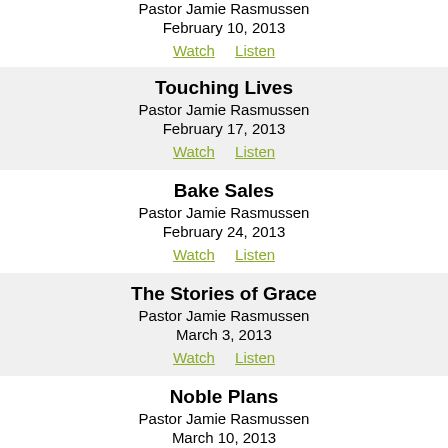Pastor Jamie Rasmussen
February 10, 2013
Watch   Listen
Touching Lives
Pastor Jamie Rasmussen
February 17, 2013
Watch   Listen
Bake Sales
Pastor Jamie Rasmussen
February 24, 2013
Watch   Listen
The Stories of Grace
Pastor Jamie Rasmussen
March 3, 2013
Watch   Listen
Noble Plans
Pastor Jamie Rasmussen
March 10, 2013